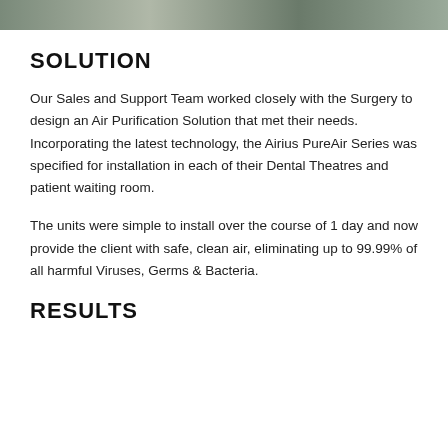[Figure (photo): Photo strip of dental surgery environment at the top of the page]
SOLUTION
Our Sales and Support Team worked closely with the Surgery to design an Air Purification Solution that met their needs. Incorporating the latest technology, the Airius PureAir Series was specified for installation in each of their Dental Theatres and patient waiting room.
The units were simple to install over the course of 1 day and now provide the client with safe, clean air, eliminating up to 99.99% of all harmful Viruses, Germs & Bacteria.
RESULTS